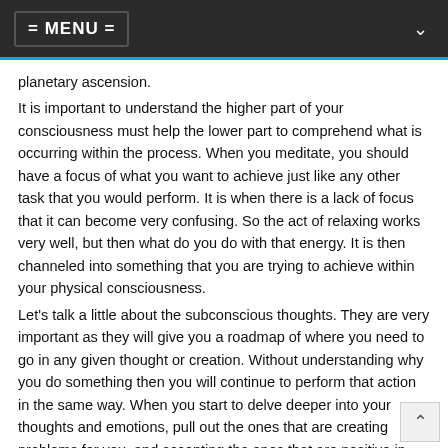= MENU =
planetary ascension.
It is important to understand the higher part of your consciousness must help the lower part to comprehend what is occurring within the process. When you meditate, you should have a focus of what you want to achieve just like any other task that you would perform. It is when there is a lack of focus that it can become very confusing. So the act of relaxing works very well, but then what do you do with that energy. It is then channeled into something that you are trying to achieve within your physical consciousness.
Let's talk a little about the subconscious thoughts. They are very important as they will give you a roadmap of where you need to go in any given thought or creation. Without understanding why you do something then you will continue to perform that action in the same way. When you start to delve deeper into your thoughts and emotions, pull out the ones that are creating problems for you, and accepting the ones that are positive in your reaction.